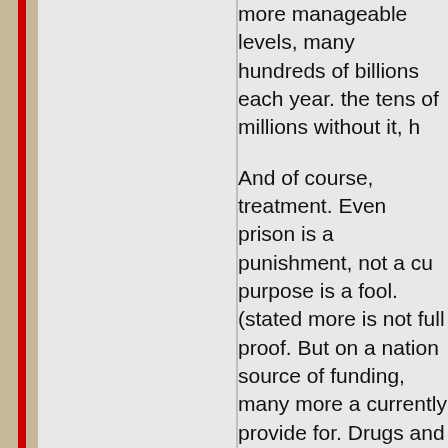more manageable levels, many hundreds of billions each year. the tens of millions without it, h
And of course, treatment. Even prison is a punishment, not a cu purpose is a fool. (stated more is not full proof. But on a nation source of funding, many more a currently provide for. Drugs and families. Still lead to criminal be actually make a dent in our rate
Tax the living hell out of it. Ciga jolly just to be able to light up w windfall from prostitution, gamb wonder at the immense source
Isolate it. Much like the brothels between at licensed businesses sam, licensing). Not in residenti